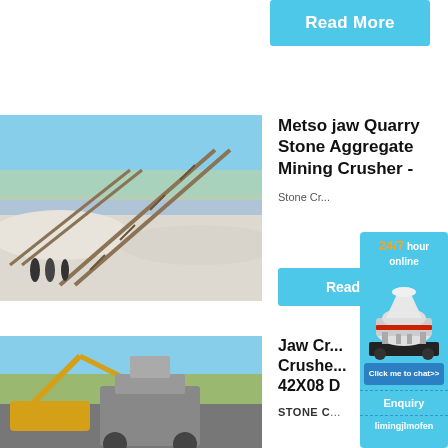Read More
[Figure (photo): Quarry conveyor belt system in winter landscape with snow on ground and bare trees in background]
Metso jaw Quarry Stone Aggregate Mining Crusher -
Stone Cr...
Read More
[Figure (photo): Jaw crusher / mobile crusher machinery at a mining site with excavator visible in background]
Jaw Crusher Crusher 42X08 D...
STONE C...
[Figure (illustration): Chat widget overlay showing a cone crusher machine with 24/7 hour online text, Click me to chat>> button, Enquiry button, and limingjlmofen text]
24/7 hour online
Click me to chat>>
Enquiry
limingjlmofen